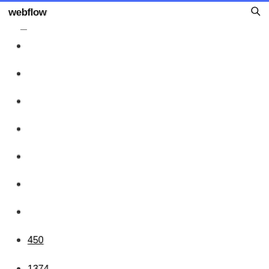webflow
450
1374
1461
1159
1024